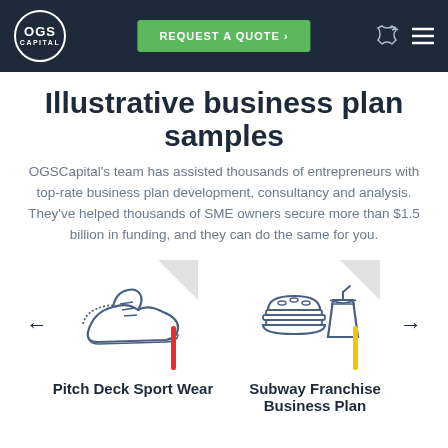OGS Capital — REQUEST A QUOTE >
Illustrative business plan samples
OGSCapital's team has assisted thousands of entrepreneurs with top-rate business plan development, consultancy and analysis. They've helped thousands of SME owners secure more than $1.5 billion in funding, and they can do the same for you.
[Figure (illustration): Sneaker/sport shoe icon with a triangle corner accent and a red vertical bar below]
Pitch Deck Sport Wear
[Figure (illustration): Fast food/burger and fries icon with a triangle corner accent and a yellow vertical bar below]
Subway Franchise Business Plan